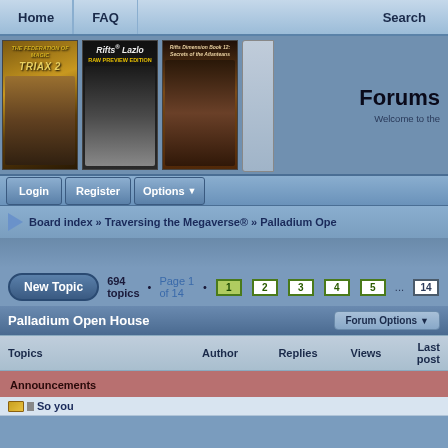Home | FAQ | Search
[Figure (screenshot): Three book covers: Triax 2, Rifts Lazlo Raw Preview Edition, and Rifts Dimension Book 12 Secrets of the Atlanteans, plus a Forums Welcome panel]
Forums
Welcome to the
Login | Register | Options
Board index » Traversing the Megaverse® » Palladium Ope
New Topic  694 topics • Page 1 of 14 • 1 2 3 4 5 ... 14
Palladium Open House
Forum Options
| Topics | Author | Replies | Views | Last post |
| --- | --- | --- | --- | --- |
| Announcements |  |  |  |  |
| So you |  |  |  |  |
Announcements
So you